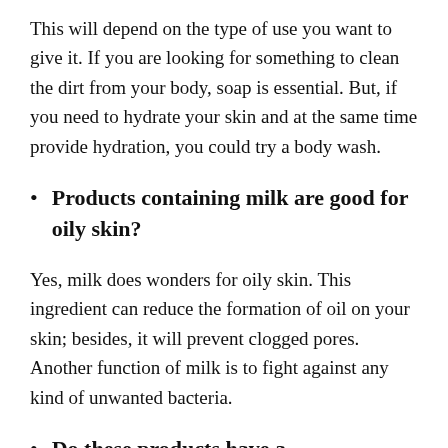This will depend on the type of use you want to give it. If you are looking for something to clean the dirt from your body, soap is essential. But, if you need to hydrate your skin and at the same time provide hydration, you could try a body wash.
Products containing milk are good for oily skin?
Yes, milk does wonders for oily skin. This ingredient can reduce the formation of oil on your skin; besides, it will prevent clogged pores. Another function of milk is to fight against any kind of unwanted bacteria.
Do these products have a